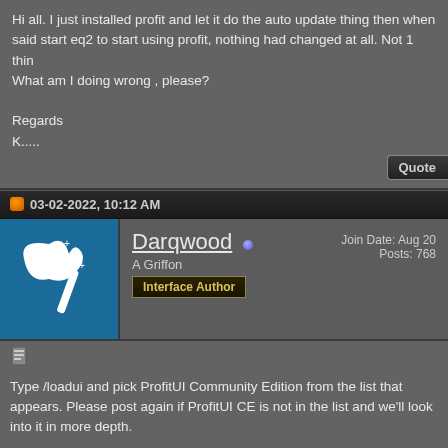Hi all. I just installed profit and let it do the auto update thing then when said start eq2 to start using profit, nothing had changed at all. Not 1 thing. What am I doing wrong , please?

Regards
K.....
03-02-2022, 10:12 AM
Darqwood
A Griffon
Interface Author
Join Date: Aug 20
Posts: 768
Type /loadui and pick ProfitUI Community Edition from the list that appears. Please post again if ProfitUI CE is not in the list and we'll look into it in more depth.
03-02-2022, 04:11 PM